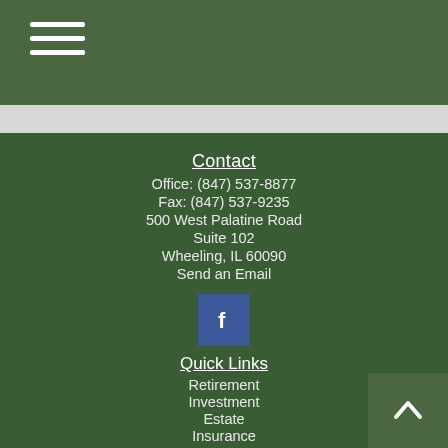[Figure (other): Hamburger menu icon with three horizontal white lines on dark green background]
Contact
Office: (847) 537-8877
Fax: (847) 537-9235
500 West Palatine Road
Suite 102
Wheeling, IL 60090
Send an Email
[Figure (logo): Facebook icon - white f letter on blue square background]
Quick Links
Retirement
Investment
Estate
Insurance